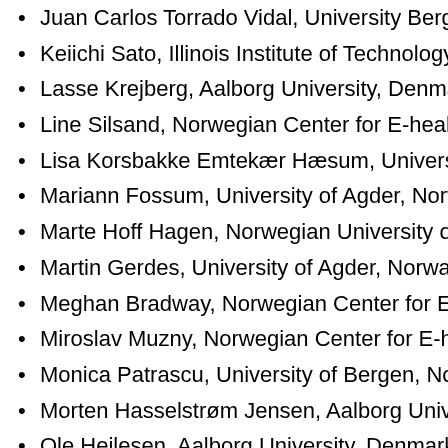Juan Carlos Torrado Vidal, University Bergen, Norway
Keiichi Sato, Illinois Institute of Technology, Institute of
Lasse Krejberg, Aalborg University, Denmark
Line Silsand, Norwegian Center for E-health Research
Lisa Korsbakke Emtekær Hæsum, University College
Mariann Fossum, University of Agder, Norway
Marte Hoff Hagen, Norwegian University of Science an
Martin Gerdes, University of Agder, Norway
Meghan Bradway, Norwegian Center for E-health Res
Miroslav Muzny, Norwegian Center for E-health Resea
Monica Patrascu, University of Bergen, Norway
Morten Hasselstrøm Jensen, Aalborg University, Denn
Ole Hejlesen, Aalborg University, Denmark
Phuong Dinh Ngo, Norwegian Center for E-health Res
Santiago Martinez, University of Agder, Norway
Stefano Bonacina, Karolinska Institutet, Sweden
Stine Hangaard, Aalborg University, Denmark